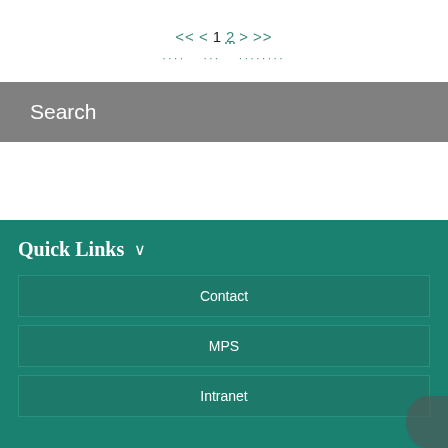<< < 1 2 > >>
Search
Quick Links
Contact
MPS
Intranet